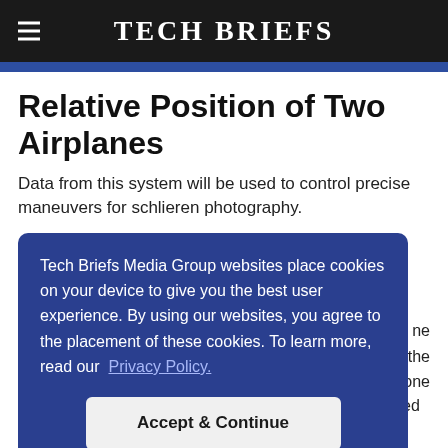Tech Briefs
Relative Position of Two Airplanes
Data from this system will be used to control precise maneuvers for schlieren photography.
Tech Briefs Media Group websites place cookies on your device to give you the best user experience. By using our websites, you agree to the placement of these cookies. To learn more, read our Privacy Policy.
F-18 airplane (denoted the "chase vehicle") is to be used to take